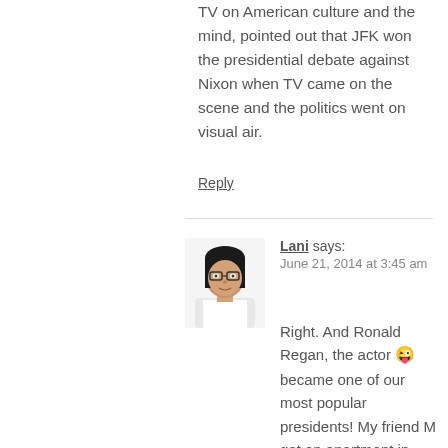TV on American culture and the mind, pointed out that JFK won the presidential debate against Nixon when TV came on the scene and the politics went on visual air.
Reply
Lani says:
June 21, 2014 at 3:45 am
[Figure (photo): Small avatar photo of a woman with dark hair, glasses, and a white top]
Right. And Ronald Regan, the actor 😜 became one of our most popular presidents! My friend M got an apartment in NYC because the landlord took a shining to her. I remember her roommate telling me the